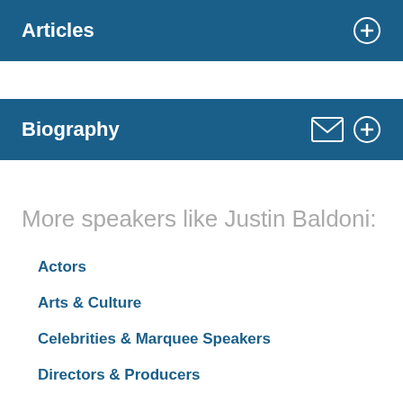Articles
Biography
More speakers like Justin Baldoni:
Actors
Arts & Culture
Celebrities & Marquee Speakers
Directors & Producers
Diversity, Inclusion & Equity
Hollywood Inspiration